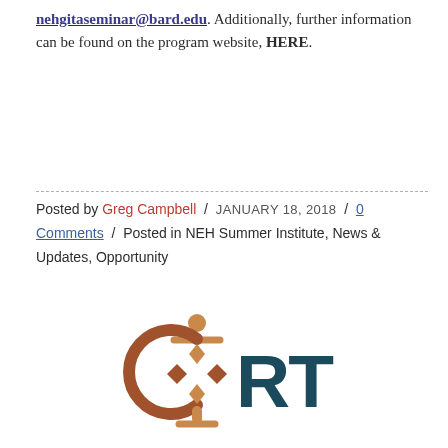nehgitaseminar@bard.edu. Additionally, further information can be found on the program website, HERE.
Posted by Greg Campbell / JANUARY 18, 2018 / 0 Comments / Posted in NEH Summer Institute, News & Updates, Opportunity
[Figure (logo): CRT logo — a stylized circular symbol with a human figure on top and geometric diamond shapes, in brown/copper tones, next to the letters 'RT' in dark teal.]